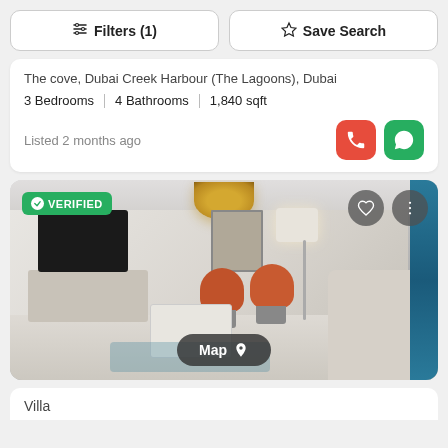Filters (1)
Save Search
The cove, Dubai Creek Harbour (The Lagoons), Dubai
3 Bedrooms | 4 Bathrooms | 1,840 sqft
Listed 2 months ago
[Figure (photo): Interior photo of a modern living room with chandelier, TV unit, orange chairs, coffee table, sofa, and blue curtains. VERIFIED badge top-left, heart and menu buttons top-right, Map button at bottom center.]
Villa